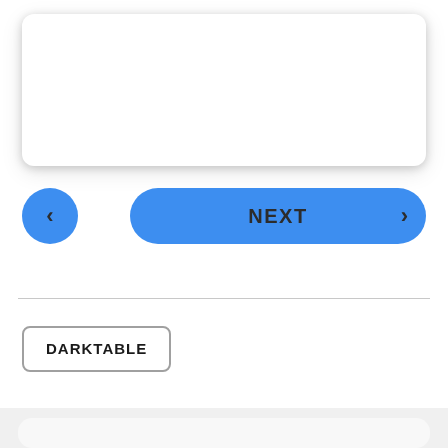[Figure (screenshot): White rounded card area (empty content area/quiz card) with drop shadow]
[Figure (screenshot): Navigation row with blue circular back button showing left chevron and blue pill-shaped NEXT button with right chevron]
DARKTABLE
[Figure (screenshot): Partial profile card with circular avatar showing person in front of pink background, cut off at bottom of page]